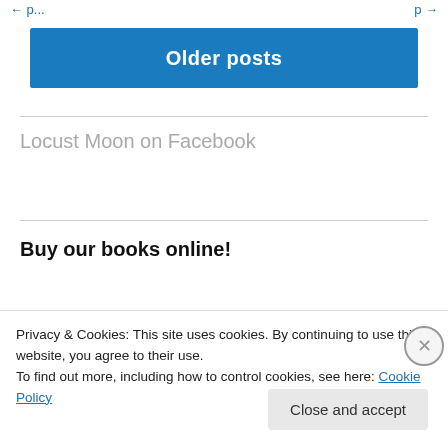← (previous) … (next) →
Older posts
Locust Moon on Facebook
Buy our books online!
[Figure (illustration): Partial illustration of green leaf shapes]
Privacy & Cookies: This site uses cookies. By continuing to use this website, you agree to their use.
To find out more, including how to control cookies, see here: Cookie Policy
Close and accept